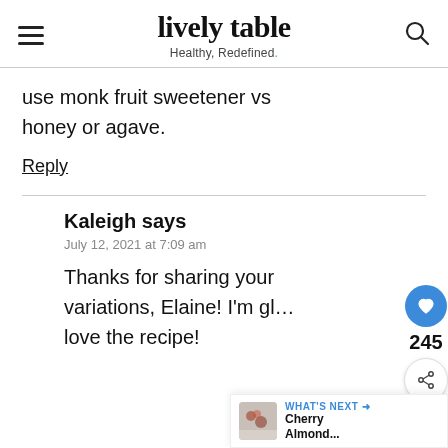lively table — Healthy, Redefined.
use monk fruit sweetener vs honey or agave.
Reply
Kaleigh says
July 12, 2021 at 7:09 am
Thanks for sharing your variations, Elaine! I'm gl... love the recipe!